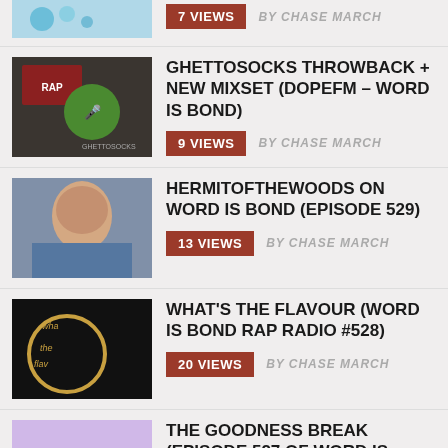7 VIEWS  BY CHASE MARCH
GHETTOSOCKS THROWBACK + NEW MIXSET (DOPEFM – WORD IS BOND) | 9 VIEWS  BY CHASE MARCH
HERMITOFTHEWOODS ON WORD IS BOND (EPISODE 529) | 13 VIEWS  BY CHASE MARCH
WHAT'S THE FLAVOUR (WORD IS BOND RAP RADIO #528) | 20 VIEWS  BY CHASE MARCH
THE GOODNESS BREAK (EPISODE 527 OF WORD IS BOND) | 24 VIEWS  BY CHASE MARCH
RON NELSON, THE GODFATHER OF CANADIAN HIP HOP (WORD IS BOND) | 29 VIEWS  BY CHASE MARCH